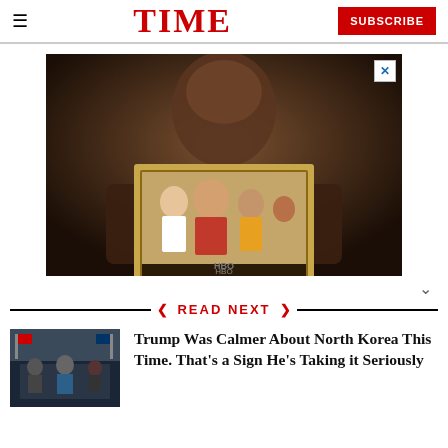TIME | SUBSCRIBE
[Figure (photo): Advertisement image showing a person holding a framed photograph of a group of people, dark moody lighting, HBO branding visible at bottom]
[Figure (photo): Thumbnail image of Trump at what appears to be a congressional or official hearing setting with military officials]
READ NEXT
Trump Was Calmer About North Korea This Time. That's a Sign He's Taking it Seriously